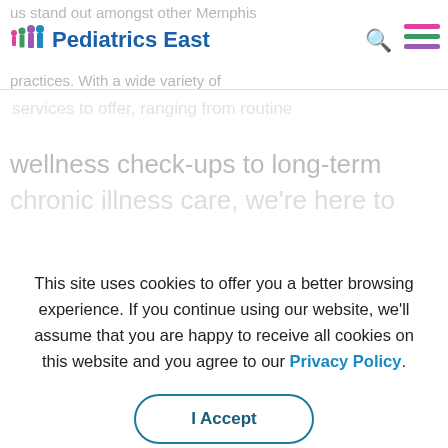Pediatrics East
us stand out amongst other Memphis practices. With a wide variety of services to offer, ranging from routine wellness check-ups to long-term chronic illness care, we're here to
This site uses cookies to offer you a better browsing experience. If you continue using our website, we'll assume that you are happy to receive all cookies on this website and you agree to our Privacy Policy.
I Accept